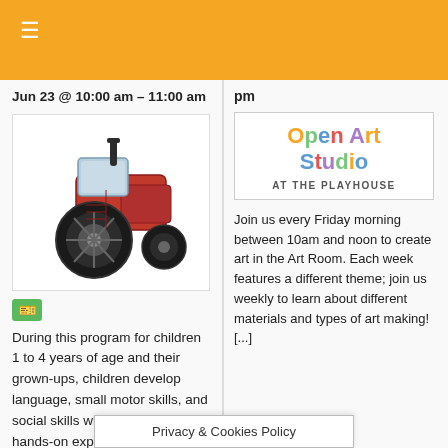☰
Jun 23 @ 10:00 am – 11:00 am
[Figure (illustration): Drawing of a red farm tractor with large black wheels, a black exhaust pipe, and a blue windshield cab]
[Figure (logo): Open Art Studio at the Playhouse logo with colorful lettering]
pm
Join us every Friday morning between 10am and noon to create art in the Art Room. Each week features a different theme; join us weekly to learn about different materials and types of art making![...]
During this program for children 1 to 4 years of age and their grown-ups, children develop language, small motor skills, and social skills while engaging in hands-on exploration. Each class includes songs and music
Privacy & Cookies Policy